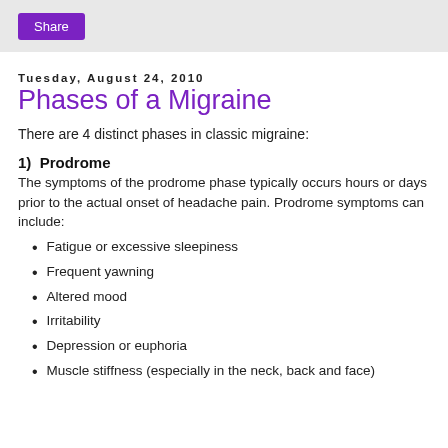Share
Tuesday, August 24, 2010
Phases of a Migraine
There are 4 distinct phases in classic migraine:
1)  Prodrome
The symptoms of the prodrome phase typically occurs hours or days prior to the actual onset of headache pain. Prodrome symptoms can include:
Fatigue or excessive sleepiness
Frequent yawning
Altered mood
Irritability
Depression or euphoria
Muscle stiffness (especially in the neck, back and face)